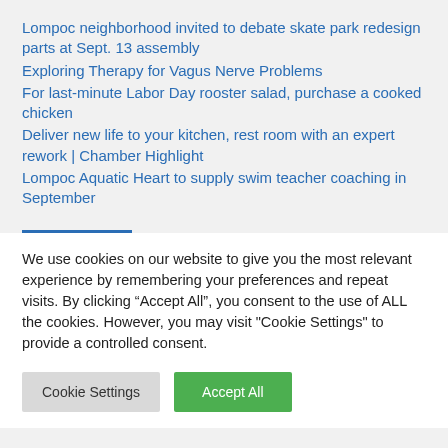Lompoc neighborhood invited to debate skate park redesign parts at Sept. 13 assembly
Exploring Therapy for Vagus Nerve Problems
For last-minute Labor Day rooster salad, purchase a cooked chicken
Deliver new life to your kitchen, rest room with an expert rework | Chamber Highlight
Lompoc Aquatic Heart to supply swim teacher coaching in September
We use cookies on our website to give you the most relevant experience by remembering your preferences and repeat visits. By clicking “Accept All”, you consent to the use of ALL the cookies. However, you may visit "Cookie Settings" to provide a controlled consent.